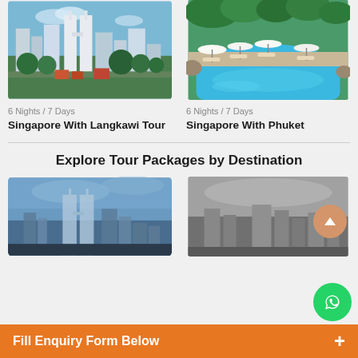[Figure (photo): Kuala Lumpur city skyline with Petronas Twin Towers and green park in foreground]
6 Nights / 7 Days
Singapore With Langkawi Tour
[Figure (photo): Resort pool area with sun loungers and umbrellas, tropical setting]
6 Nights / 7 Days
Singapore With Phuket
Explore Tour Packages by Destination
[Figure (photo): City skyline destination card - left]
[Figure (photo): City skyline destination card - right]
Fill Enquiry Form Below